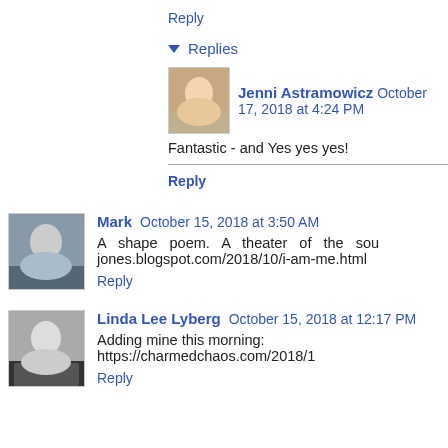Reply
▾ Replies
Jenni Astramowicz  October 17, 2018 at 4:24 PM
Fantastic - and Yes yes yes!
Reply
Mark  October 15, 2018 at 3:50 AM
A shape poem. A theater of the sou... jones.blogspot.com/2018/10/i-am-me.html
Reply
Linda Lee Lyberg  October 15, 2018 at 12:17 PM
Adding mine this morning: https://charmedchaos.com/2018/1...
Reply